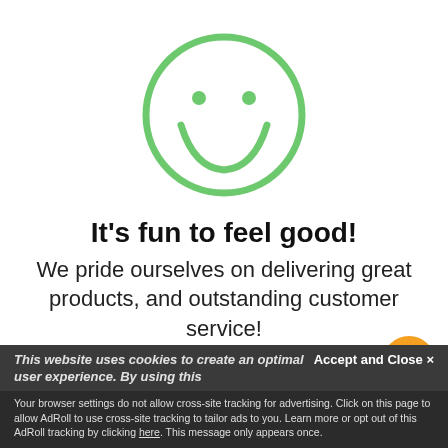[Figure (illustration): Green smiley face circle icon with two dot eyes and a wide smile]
It's fun to feel good!
We pride ourselves on delivering great products, and outstanding customer service!
This website uses cookies to create an optimal user experience. By using this
Accept and Close ×
Your browser settings do not allow cross-site tracking for advertising. Click on this page to allow AdRoll to use cross-site tracking to tailor ads to you. Learn more or opt out of this AdRoll tracking by clicking here. This message only appears once.